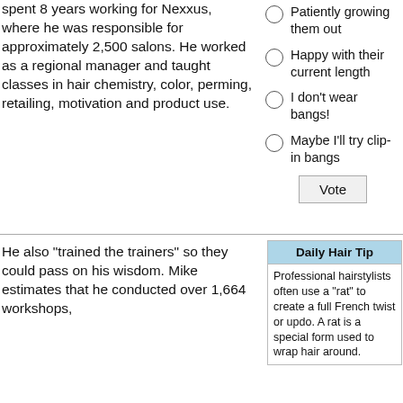spent 8 years working for Nexxus, where he was responsible for approximately 2,500 salons. He worked as a regional manager and taught classes in hair chemistry, color, perming, retailing, motivation and product use.
Patiently growing them out
Happy with their current length
I don't wear bangs!
Maybe I'll try clip-in bangs
Daily Hair Tip
Professional hairstylists often use a "rat" to create a full French twist or updo. A rat is a special form used to wrap hair around.
He also "trained the trainers" so they could pass on his wisdom. Mike estimates that he conducted over 1,664 workshops,